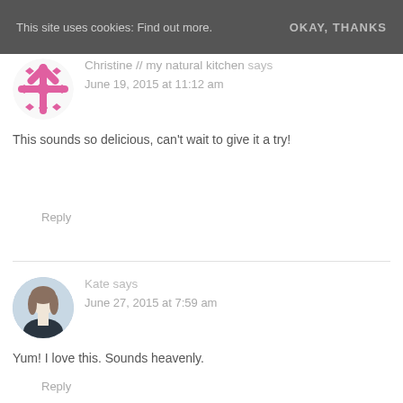This site uses cookies: Find out more.   OKAY, THANKS
Christine // my natural kitchen says
June 19, 2015 at 11:12 am

This sounds so delicious, can't wait to give it a try!
Reply
Kate says
June 27, 2015 at 7:59 am

Yum! I love this. Sounds heavenly.
Reply